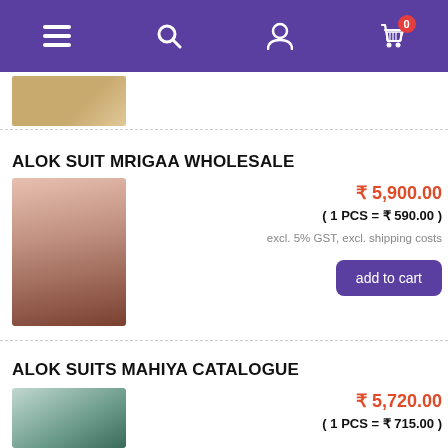Navigation bar with menu, search, account, and cart (0 items) icons
[Figure (photo): Thumbnail of a previous product (partially visible)]
ALOK SUIT MRIGAA WHOLESALE
[Figure (photo): Photo of a woman in a pink floral salwar suit (Alok Suit Mrigaa)]
₹ 5,900.00
( 1 PCS = ₹ 590.00 )
excl. 5% GST, excl. shipping costs
add to cart
ALOK SUITS MAHIYA CATALOGUE
₹ 5,720.00
( 1 PCS = ₹ 715.00 )